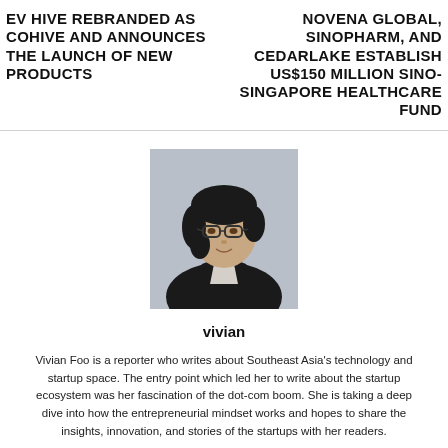EV HIVE REBRANDED AS COHIVE AND ANNOUNCES THE LAUNCH OF NEW PRODUCTS
NOVENA GLOBAL, SINOPHARM, AND CEDARLAKE ESTABLISH US$150 MILLION SINO-SINGAPORE HEALTHCARE FUND
[Figure (photo): Headshot photo of Vivian Foo, a woman with short black hair and glasses, wearing a dark blazer, against a light grey background]
vivian
Vivian Foo is a reporter who writes about Southeast Asia's technology and startup space. The entry point which led her to write about the startup ecosystem was her fascination of the dot-com boom. She is taking a deep dive into how the entrepreneurial mindset works and hopes to share the insights, innovation, and stories of the startups with her readers.